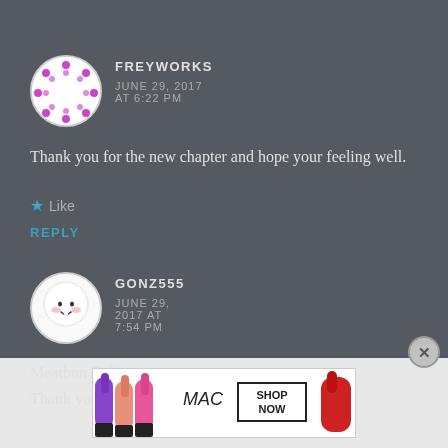FREYWORKS
JUNE 29, 2017 AT 6:22 PM
Thank you for the new chapter and hope your feeling well.
★ Like
REPLY
GONZ555
JUNE 29, 2017 AT 7:54 PM
Meatbun Delivery~
Thank you for the chapter ( ●w●)
[Figure (photo): MAC cosmetics advertisement banner showing lipsticks in purple, pink, and red with MAC logo and SHOP NOW text]